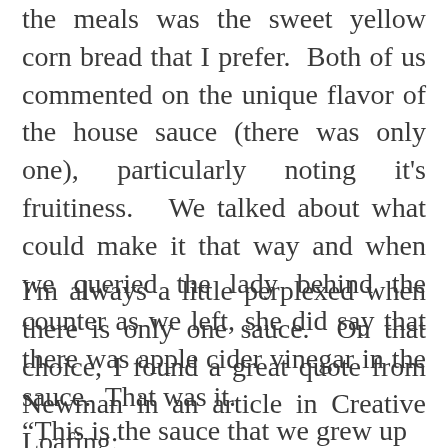the meals was the sweet yellow corn bread that I prefer. Both of us commented on the unique flavor of the house sauce (there was only one), particularly noting it's fruitiness. We talked about what could make it that way and when we queried the lady behind the counter as we left, she did say that there was apple cider vinegar in the sauce. That was it.
I'm always a little perplexed when there is only one sauce. On that choice, I found a great quote from Newman in an article in Creative Loafing:
“This is the sauce that we grew up